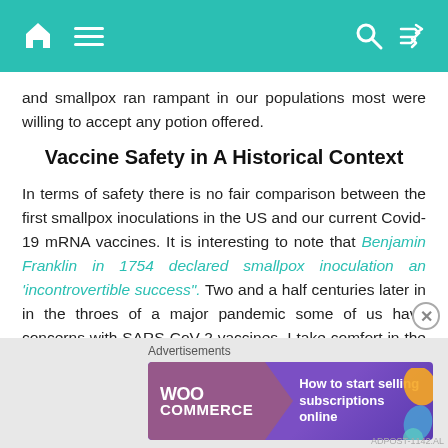Navigation header with home, menu, search, and shuffle icons
and smallpox ran rampant in our populations most were willing to accept any potion offered.
Vaccine Safety in A Historical Context
In terms of safety there is no fair comparison between the first smallpox inoculations in the US and our current Covid-19 mRNA vaccines. It is interesting to note that Benjamin Franklin in 1754 declared smallpox inoculation an 'incontrovertible success'. Two and a half centuries later in in the throes of a major pandemic some of us have concerns with SARS-CoV-2 vaccines. I take comfort in the fact that the vaccine crusaders of the 18th century had to contend with more resistance than we have to deal with nowadays
[Figure (other): WooCommerce advertisement banner: How to start selling subscriptions online]